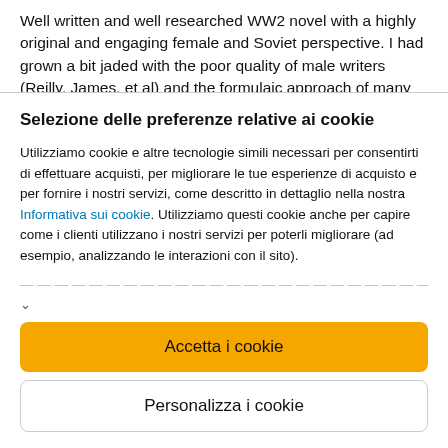Well written and well researched WW2 novel with a highly original and engaging female and Soviet perspective. I had grown a bit jaded with the poor quality of male writers (Reilly, James, et al) and the formulaic approach of many female writers (whose titles are... Visualizza altro
Selezione delle preferenze relative ai cookie
Utilizziamo cookie e altre tecnologie simili necessari per consentirti di effettuare acquisti, per migliorare le tue esperienze di acquisto e per fornire i nostri servizi, come descritto in dettaglio nella nostra Informativa sui cookie. Utilizziamo questi cookie anche per capire come i clienti utilizzano i nostri servizi per poterli migliorare (ad esempio, analizzando le interazioni con il sito).
[faded expandable text]
Accetta i cookie
Personalizza i cookie